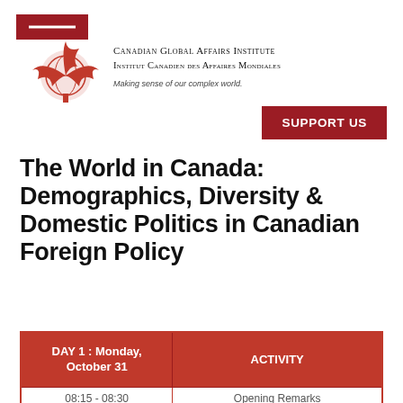[Figure (logo): Canadian Global Affairs Institute logo: red rectangle navigation bar, red maple leaf and globe emblem, with institute name and tagline]
SUPPORT US
The World in Canada: Demographics, Diversity & Domestic Politics in Canadian Foreign Policy
| DAY 1 : Monday, October 31 | ACTIVITY |
| --- | --- |
| 08:15 - 08:30 | Opening Remarks |